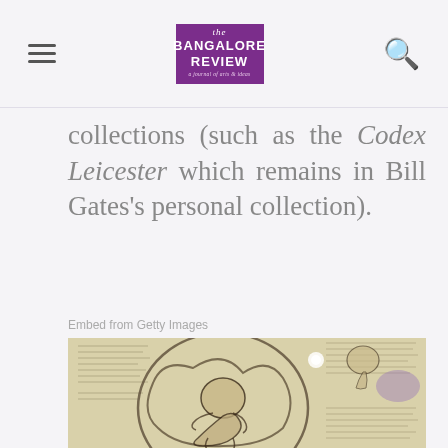The Bangalore Review
collections (such as the Codex Leicester which remains in Bill Gates's personal collection).
Embed from Getty Images
[Figure (photo): A Leonardo da Vinci sketch showing a fetus curled inside a womb, surrounded by handwritten notes in mirror script, with additional anatomical sketches in the corners.]